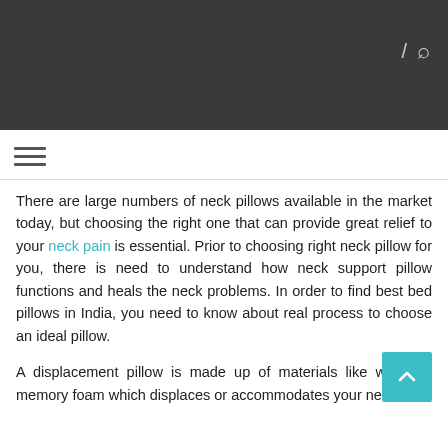/ 🔍
There are large numbers of neck pillows available in the market today, but choosing the right one that can provide great relief to your neck pain is essential. Prior to choosing right neck pillow for you, there is need to understand how neck support pillow functions and heals the neck problems. In order to find best bed pillows in India, you need to know about real process to choose an ideal pillow.
A displacement pillow is made up of materials like water or memory foam which displaces or accommodates your neck and